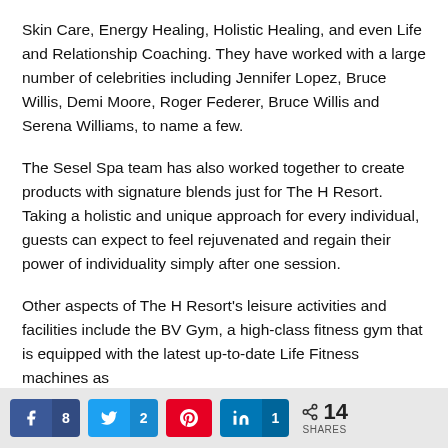Skin Care, Energy Healing, Holistic Healing, and even Life and Relationship Coaching. They have worked with a large number of celebrities including Jennifer Lopez, Bruce Willis, Demi Moore, Roger Federer, Bruce Willis and Serena Williams, to name a few.
The Sesel Spa team has also worked together to create products with signature blends just for The H Resort. Taking a holistic and unique approach for every individual, guests can expect to feel rejuvenated and regain their power of individuality simply after one session.
Other aspects of The H Resort's leisure activities and facilities include the BV Gym, a high-class fitness gym that is equipped with the latest up-to-date Life Fitness machines as
[Figure (infographic): Social share bar with Facebook (8 shares), Twitter (2 shares), Pinterest (no count shown), LinkedIn (1 share), and total 14 SHARES]